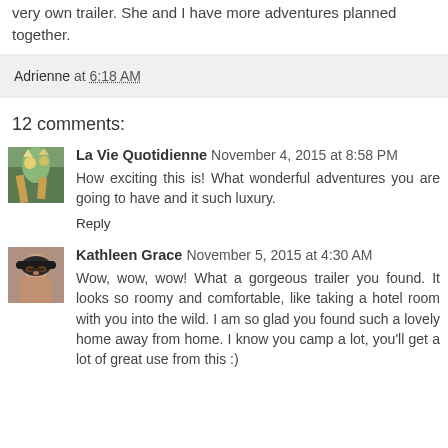very own trailer.  She and I have more adventures planned together.
Adrienne at 6:18 AM
12 comments:
La Vie Quotidienne  November 4, 2015 at 8:58 PM
How exciting this is! What wonderful adventures you are going to have and it such luxury.
Reply
Kathleen Grace  November 5, 2015 at 4:30 AM
Wow, wow, wow! What a gorgeous trailer you found. It looks so roomy and comfortable, like taking a hotel room with you into the wild. I am so glad you found such a lovely home away from home. I know you camp a lot, you'll get a lot of great use from this :)